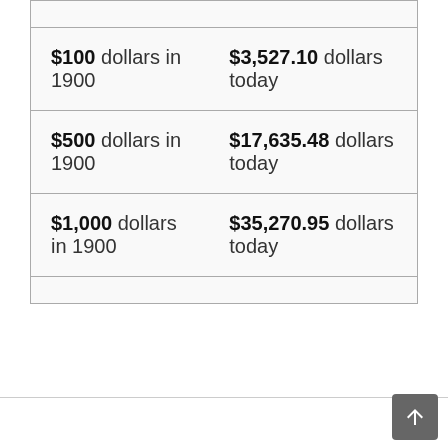| $100 dollars in 1900 | $3,527.10 dollars today |
| $500 dollars in 1900 | $17,635.48 dollars today |
| $1,000 dollars in 1900 | $35,270.95 dollars today |